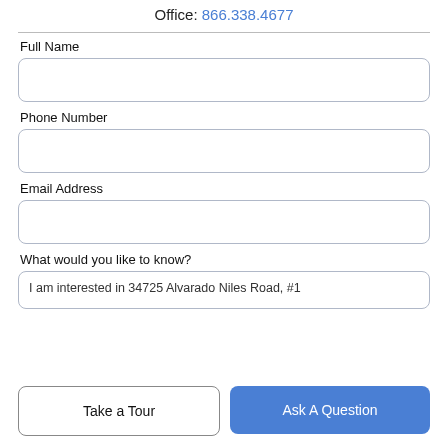Office: 866.338.4677
Full Name
Phone Number
Email Address
What would you like to know?
I am interested in 34725 Alvarado Niles Road, #1
Take a Tour
Ask A Question